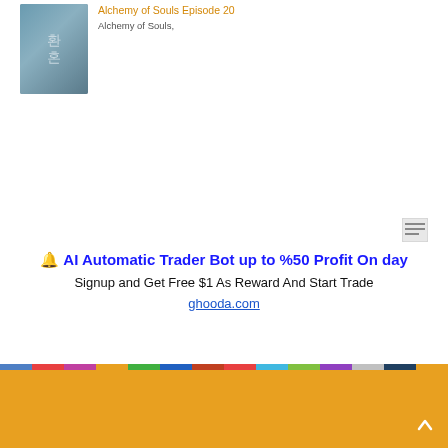[Figure (photo): Thumbnail image of Alchemy of Souls drama with two characters]
Alchemy of Souls Episode 20
Alchemy of Souls,
[Figure (logo): Small icon/logo in top right area]
🔔 AI Automatic Trader Bot up to %50 Profit On day
Signup and Get Free $1 As Reward And Start Trade
ghooda.com
[Figure (other): Rainbow colored bar strip spanning full width]
[Figure (other): Orange footer area with scroll-to-top arrow button]